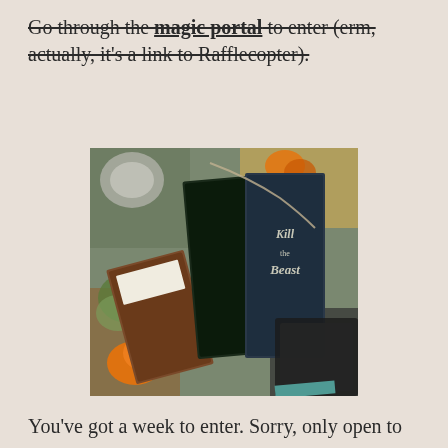Go through the magic portal to enter (erm, actually, it's a link to Rafflecopter).
[Figure (photo): Flatlay photo showing books including 'Kill the Beast' by Michele Israel Harper, a decorative book with deer pattern, a New Zealand chocolate box, orange flowers, wicker balls, succulents, and a keyboard arranged on a table.]
You've got a week to enter. Sorry, only open to